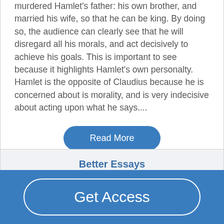murdered Hamlet's father: his own brother, and married his wife, so that he can be king. By doing so, the audience can clearly see that he will disregard all his morals, and act decisively to achieve his goals. This is important to see because it highlights Hamlet's own personalty. Hamlet is the opposite of Claudius because he is concerned about is morality, and is very indecisive about acting upon what he says....
Read More
Better Essays
Get Access